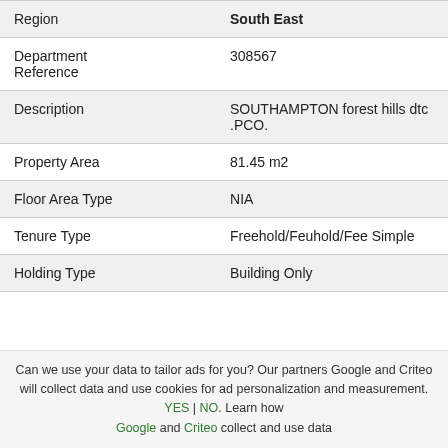| Field | Value |
| --- | --- |
| Region | South East |
| Department Reference | 308567 |
| Description | SOUTHAMPTON forest hills dtc .PCO. |
| Property Area | 81.45 m2 |
| Floor Area Type | NIA |
| Tenure Type | Freehold/Feuhold/Fee Simple |
| Holding Type | Building Only |
Can we use your data to tailor ads for you? Our partners Google and Criteo will collect data and use cookies for ad personalization and measurement. YES | NO. Learn how Google and Criteo collect and use data